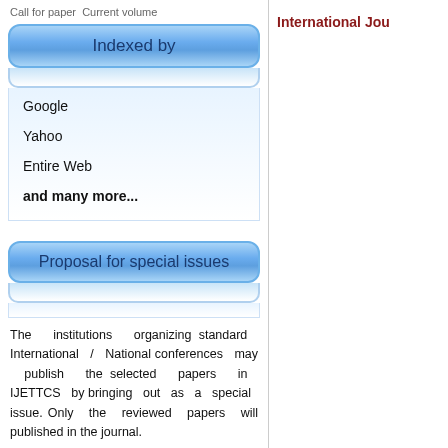Call for paper Current volume
Indexed by
Google
Yahoo
Entire Web
and many more...
Proposal for special issues
The institutions organizing standard International / National conferences may publish the selected papers in IJETTCS by bringing out as a special issue. Only the reviewed papers will published in the journal.
Current Issue
International Jou